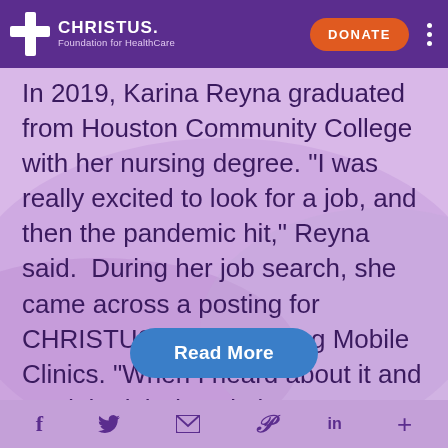CHRISTUS Foundation for HealthCare — DONATE
In 2019, Karina Reyna graduated from Houston Community College with her nursing degree. "I was really excited to look for a job, and then the pandemic hit," Reyna said.  During her job search, she came across a posting for CHRISTUS Healthy Living Mobile Clinics. "When I heard about it and read the job description, I was...
Read More
f  t  email  P  in  +